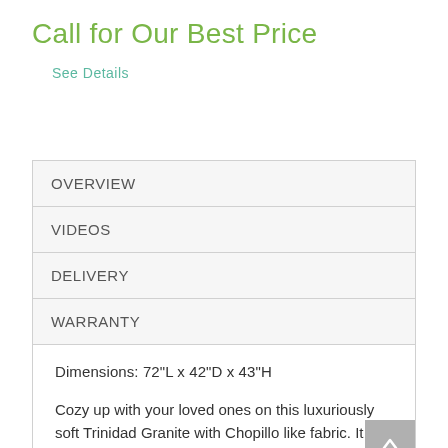Call for Our Best Price
See Details
OVERVIEW
VIDEOS
DELIVERY
WARRANTY
Dimensions: 72"L x 42"D x 43"H
Cozy up with your loved ones on this luxuriously soft Trinidad Granite with Chopillo like fabric. It features elegant sock